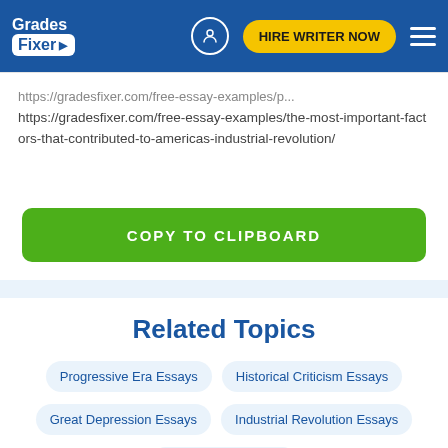Grades Fixer | HIRE WRITER NOW
https://gradesfixer.com/free-essay-examples/the-most-important-factors-that-contributed-to-americas-industrial-revolution/
COPY TO CLIPBOARD
Related Topics
Progressive Era Essays
Historical Criticism Essays
Great Depression Essays
Industrial Revolution Essays
Pearl Harbor Essays